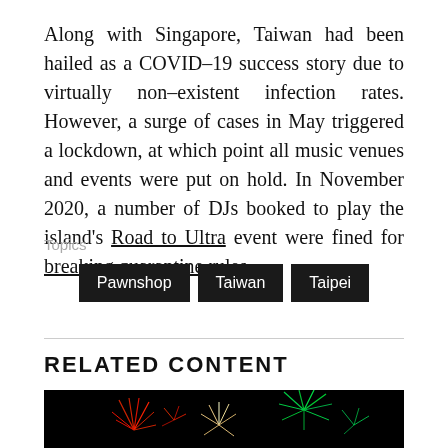Along with Singapore, Taiwan had been hailed as a COVID–19 success story due to virtually non–existent infection rates. However, a surge of cases in May triggered a lockdown, at which point all music venues and events were put on hold. In November 2020, a number of DJs booked to play the island's Road to Ultra event were fined for breaking quarantine rules.
Topics
Pawnshop
Taiwan
Taipei
RELATED CONTENT
[Figure (photo): Fireworks photo on black background showing colorful red, white and green firework bursts]